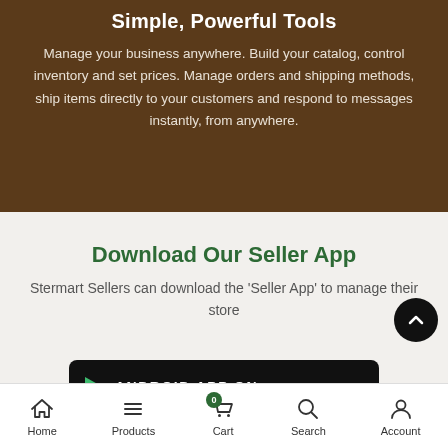Simple, Powerful Tools
Manage your business anywhere. Build your catalog, control inventory and set prices. Manage orders and shipping methods, ship items directly to your customers and respond to messages instantly, from anywhere.
Download Our Seller App
Stermart Sellers can download the 'Seller App' to manage their store
[Figure (screenshot): Android App On banner button in black with play arrow icon]
Home | Products | Cart | Search | Account